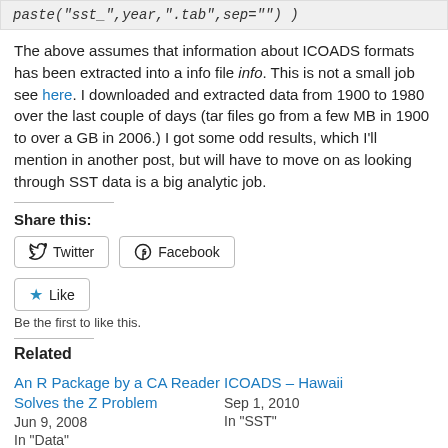paste("sst_",year,".tab",sep="") )
The above assumes that information about ICOADS formats has been extracted into a info file info. This is not a small job see here. I downloaded and extracted data from 1900 to 1980 over the last couple of days (tar files go from a few MB in 1900 to over a GB in 2006.) I got some odd results, which I'll mention in another post, but will have to move on as looking through SST data is a big analytic job.
Share this:
Twitter
Facebook
Like
Be the first to like this.
Related
An R Package by a CA Reader Solves the Z Problem
Jun 9, 2008
In "Data"
ICOADS – Hawaii
Sep 1, 2010
In "SST"